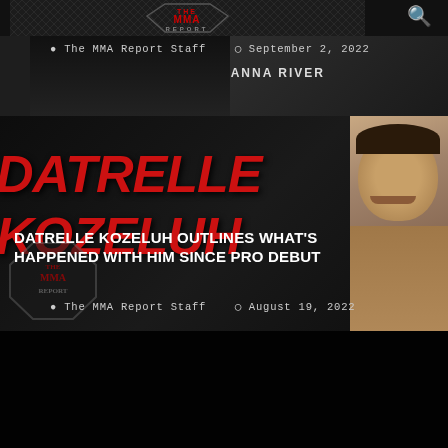The MMA Report — website header with logo and search icon
[Figure (screenshot): Article thumbnail showing a fighter with 'CANNA RIVER' text visible, dark background]
The MMA Report Staff  September 2, 2022
[Figure (photo): Article image showing red graffiti-style text 'DATRELLE KOZELUH' on dark background on left, and a close-up photo of a smiling man on the right]
DATRELLE KOZELUH OUTLINES WHAT'S HAPPENED WITH HIM SINCE PRO DEBUT
The MMA Report Staff  August 19, 2022